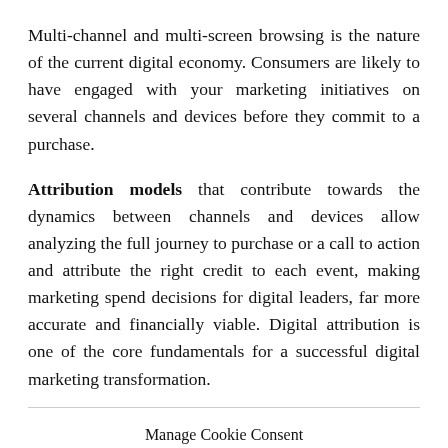Multi-channel and multi-screen browsing is the nature of the current digital economy. Consumers are likely to have engaged with your marketing initiatives on several channels and devices before they commit to a purchase.
Attribution models that contribute towards the dynamics between channels and devices allow analyzing the full journey to purchase or a call to action and attribute the right credit to each event, making marketing spend decisions for digital leaders, far more accurate and financially viable. Digital attribution is one of the core fundamentals for a successful digital marketing transformation.
Manage Cookie Consent
🍪 We use cookies and similar technologies for analytical purposes only. The data is anonymized and used to ensure basic functionalities of the website and